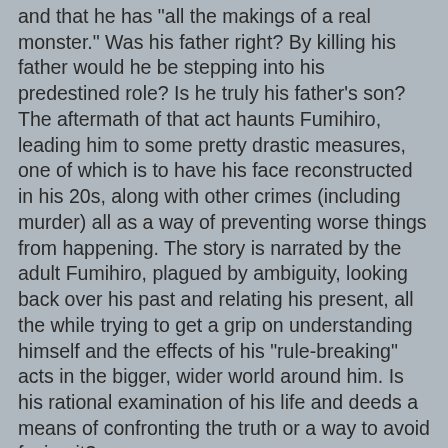and that he has "all the makings of a real monster." Was his father right? By killing his father would he be stepping into his predestined role? Is he truly his father's son? The aftermath of that act haunts Fumihiro, leading him to some pretty drastic measures, one of which is to have his face reconstructed in his 20s, along with other crimes (including murder) all as a way of preventing worse things from happening. The story is narrated by the adult Fumihiro, plagued by ambiguity, looking back over his past and relating his present, all the while trying to get a grip on understanding himself and the effects of his "rule-breaking" acts in the bigger, wider world around him. Is his rational examination of his life and deeds a means of confronting the truth or a way to avoid facing it?
Evil and the Mask is an outstanding novel, extremely well written, and I haven't read it in Japanese but the narrative is never halting or awkward so I'd imagine that as a translation it's quite good. There is a lot to this novel and I've pretty much just skimmed the surface here, but from my own casual reader perspective, it's an amazing book that throws out conundrum after conundrum to Fumihiro and to